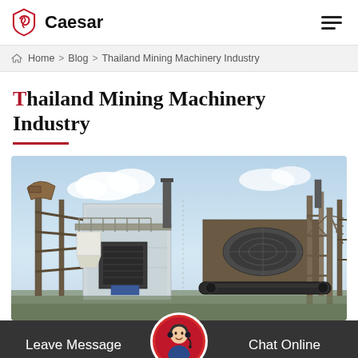Caesar
Home > Blog > Thailand Mining Machinery Industry
Thailand Mining Machinery Industry
[Figure (photo): Industrial mining machinery site showing heavy equipment, metal structures, conveyors, and processing units outdoors]
Leave Message | Chat Online